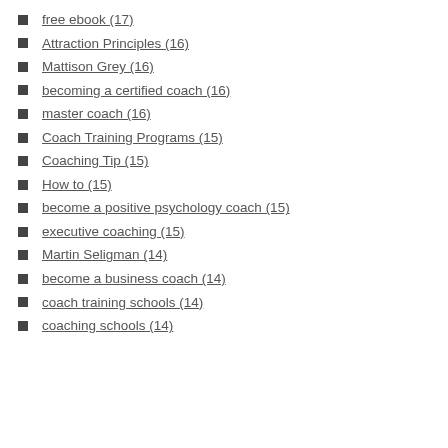free ebook (17)
Attraction Principles (16)
Mattison Grey (16)
becoming a certified coach (16)
master coach (16)
Coach Training Programs (15)
Coaching Tip (15)
How to (15)
become a positive psychology coach (15)
executive coaching (15)
Martin Seligman (14)
become a business coach (14)
coach training schools (14)
coaching schools (14)